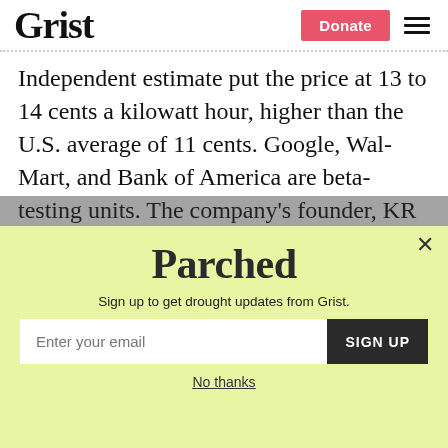Grist
Independent estimate put the price at 13 to 14 cents a kilowatt hour, higher than the U.S. average of 11 cents. Google, Wal-Mart, and Bank of America are beta-testing units. The company’s founder, KR Sridhar has raised $400 million and expects that customers can earn back their investment in
[Figure (other): Parched newsletter signup popup with yellow-green background. Contains the Parched logo, subtitle 'Sign up to get drought updates from Grist.', an email input field, a SIGN UP button, and a 'No thanks' link. A close (X) button is in the top-right corner.]